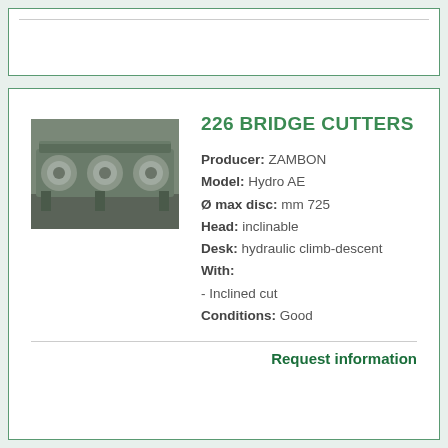[Figure (photo): Industrial bridge cutter machine photo — heavy green machinery with rollers, workshop setting]
226 BRIDGE CUTTERS
Producer: ZAMBON
Model: Hydro AE
Ø max disc: mm 725
Head: inclinable
Desk: hydraulic climb-descent
With:
- Inclined cut
Conditions: Good
Request information